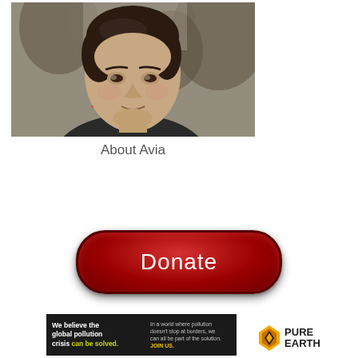[Figure (photo): Portrait photo of a woman with short dark hair wearing a red collar jacket, outdoors with blurred tree background]
About Avia
[Figure (other): Large red donate button with rounded pill shape and white text 'Donate']
[Figure (infographic): Pure Earth advertisement banner: dark background with text 'We believe the global pollution crisis can be solved.' and 'In a world where pollution doesn't stop at borders, we can all be part of the solution. JOIN US.' with Pure Earth logo on right.]